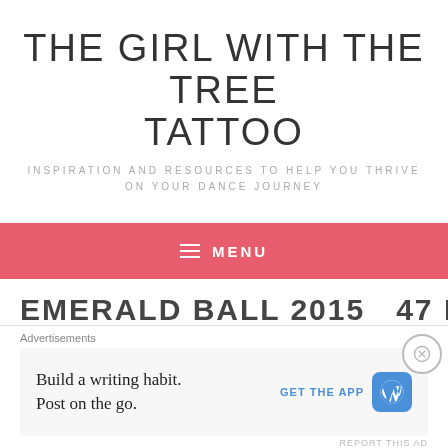THE GIRL WITH THE TREE TATTOO
INSPIRATION AND RESOURCES TO HELP YOU THRIVE ON YOUR DANCE JOURNEY
≡  MENU
EMERALD BALL 2015   47 POPPY
Advertisements
Build a writing habit. Post on the go.
GET THE APP
REPORT THIS AD